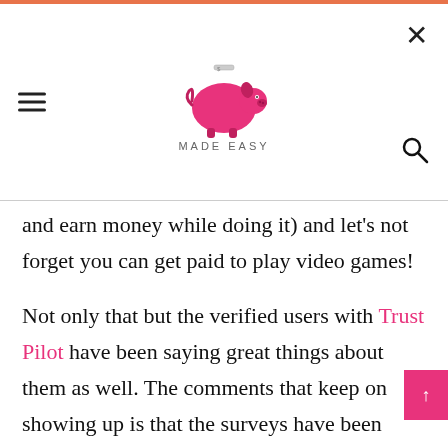[Figure (logo): Budgets Made Easy logo with pink piggy bank icon and text 'MADE EASY' below]
and earn money while doing it) and let's not forget you can get paid to play video games!
Not only that but the verified users with Trust Pilot have been saying great things about them as well. The comments that keep on showing up is that the surveys have been getting shorter and more interesting as well. Just for signing up,